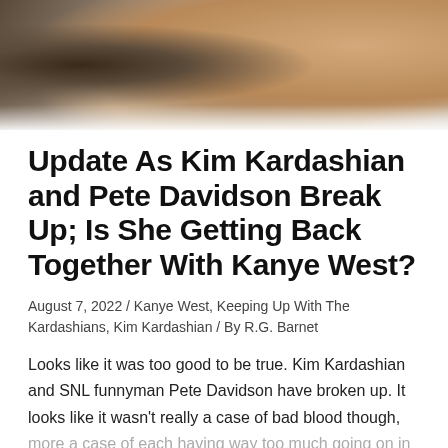[Figure (photo): Cropped photo showing two people close together, one with visible tattoos and a gold chain necklace, the other wearing a dark shirt]
Update As Kim Kardashian and Pete Davidson Break Up; Is She Getting Back Together With Kanye West?
August 7, 2022 / Kanye West, Keeping Up With The Kardashians, Kim Kardashian / By R.G. Barnet
Looks like it was too good to be true. Kim Kardashian and SNL funnyman Pete Davidson have broken up. It looks like it wasn't really a case of bad blood though, more a case of each having way too much going on in their lives to